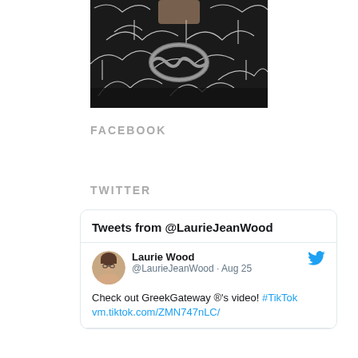[Figure (photo): Partial photo of a person wearing a black patterned top with a large chain necklace, cropped at the upper chest area.]
FACEBOOK
TWITTER
Tweets from @LaurieJeanWood
Laurie Wood @LaurieJeanWood · Aug 25
Check out GreekGateway ®'s video! #TikTok vm.tiktok.com/ZMN747nLC/